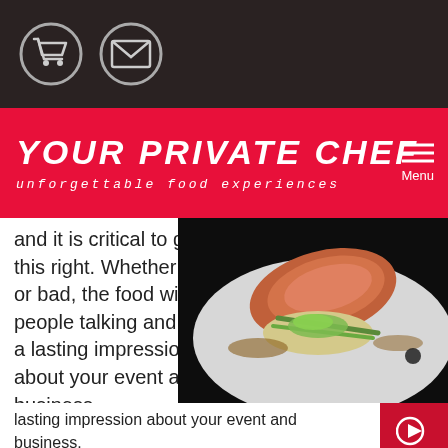[Figure (logo): Dark top navigation bar with shopping cart icon and envelope/mail icon in circular outlines on dark background]
YOUR PRIVATE CHEF
unforgettable food experiences
and it is critical to get this right. Whether good or bad, the food will get people talking and leave a lasting impression about your event and business.
[Figure (photo): Close-up photo of an elegantly plated salmon fillet on mashed potato with green beans, microgreens, and brown sauce on a white plate]
Your Private Chef specialises in corporate catering in Melbo and are passionate not only about great food, but outstand service too. We know that it's not about the food. Your guests